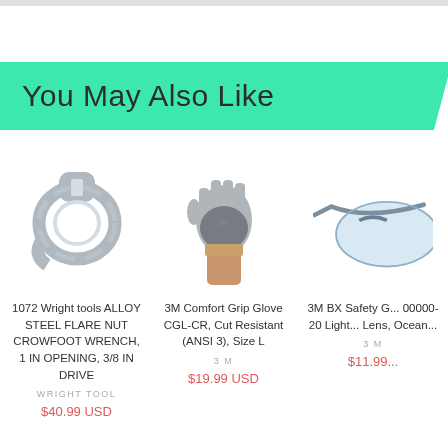You May Also Like
[Figure (photo): Alloy steel flare nut crowfoot wrench, silver/chrome, ring-shaped open wrench head]
1072 Wright tools ALLOY STEEL FLARE NUT CROWFOOT WRENCH, 1 IN OPENING, 3/8 IN DRIVE
WRIGHT TOOL
$40.99 USD
[Figure (photo): 3M Comfort Grip Glove on a hand, gray cut-resistant glove]
3M Comfort Grip Glove CGL-CR, Cut Resistant (ANSI 3), Size L
3 M
$19.99 USD
[Figure (photo): 3M BX Safety Glasses with blue/gray frame, partially visible]
3M BX Safety G... 00000-20 Light... Lens, Ocean...
3 M
$11.99...